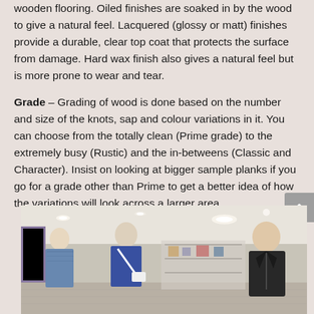wooden flooring. Oiled finishes are soaked in by the wood to give a natural feel. Lacquered (glossy or matt) finishes provide a durable, clear top coat that protects the surface from damage. Hard wax finish also gives a natural feel but is more prone to wear and tear.
Grade – Grading of wood is done based on the number and size of the knots, sap and colour variations in it. You can choose from the totally clean (Prime grade) to the extremely busy (Rustic) and the in-betweens (Classic and Character). Insist on looking at bigger sample planks if you go for a grade other than Prime to get a better idea of how the variations will look across a larger area.
[Figure (photo): Interior of a retail clothing store showing mannequins dressed in casual and leather jackets, display shelving, and recessed ceiling lighting.]